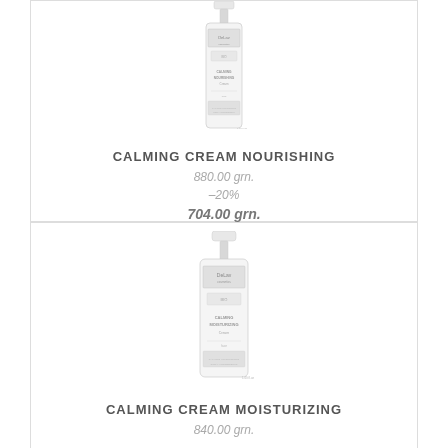[Figure (photo): Product photo of DeLav Calming Nourishing Cream in a white pump bottle]
CALMING CREAM NOURISHING
880.00 grn.
–20%
704.00 grn.
[Figure (photo): Product photo of DeLav Calming Moisturizing Cream in a white pump bottle]
CALMING CREAM MOISTURIZING
840.00 grn.